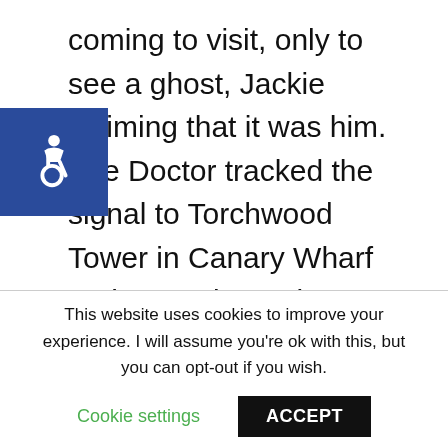coming to visit, only to see a ghost, Jackie claiming that it was him. The Doctor tracked the signal to Torchwood Tower in Canary Wharf and was taken prisoner by Yvonne Hartman, leader of the Torchwood Institute who had spent over a hundred years trying to track him down ever since his adventure with Queen Victoria in 1879. The ghosts were
[Figure (illustration): Accessibility icon — white wheelchair symbol on a dark blue square background]
This website uses cookies to improve your experience. I will assume you're ok with this, but you can opt-out if you wish.
Cookie settings   ACCEPT